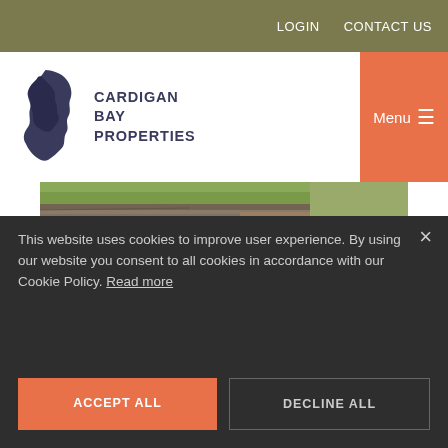LOGIN   CONTACT US
[Figure (logo): Cardigan Bay Properties logo with Wales map silhouette and brand name]
[Figure (photo): Lime kilns stone wall and grassland at Cwmtydu]
Lime Kilns at Cwmtydu
Llwyndafydd dates back hundreds of years, with Henry Tudor's army reported to have visited the area on their way to the Battle of Bosworth in 1485.
This website uses cookies to improve user experience. By using our website you consent to all cookies in accordance with our Cookie Policy. Read more
ACCEPT ALL
DECLINE ALL